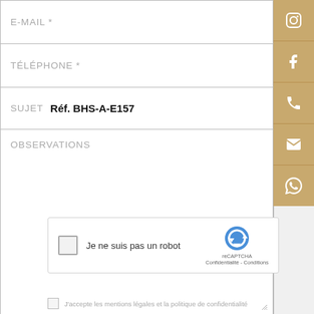E-MAIL *
TÉLÉPHONE *
SUJET  Réf. BHS-A-E157
OBSERVATIONS
[Figure (screenshot): Social media sidebar with Instagram, Facebook, phone, email, and WhatsApp icon buttons in gold/tan color]
[Figure (screenshot): reCAPTCHA widget with checkbox, text 'Je ne suis pas un robot', reCAPTCHA logo, and 'Confidentialité - Conditions' links]
Je ne suis pas un robot
reCAPTCHA
Confidentialité - Conditions